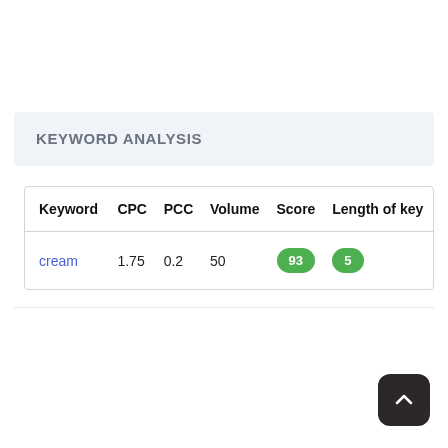KEYWORD ANALYSIS
| Keyword | CPC | PCC | Volume | Score | Length of key |
| --- | --- | --- | --- | --- | --- |
| cream | 1.75 | 0.2 | 50 | 93 | 5 |